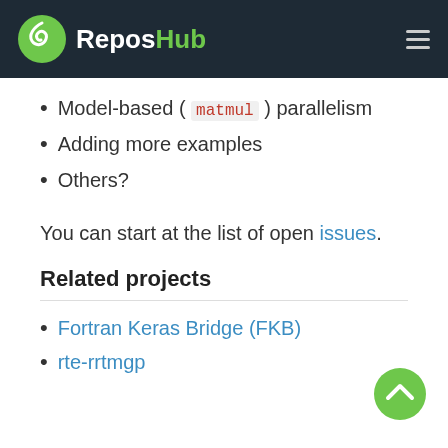ReposHub
Model-based ( matmul ) parallelism
Adding more examples
Others?
You can start at the list of open issues.
Related projects
Fortran Keras Bridge (FKB)
rte-rrtmgp